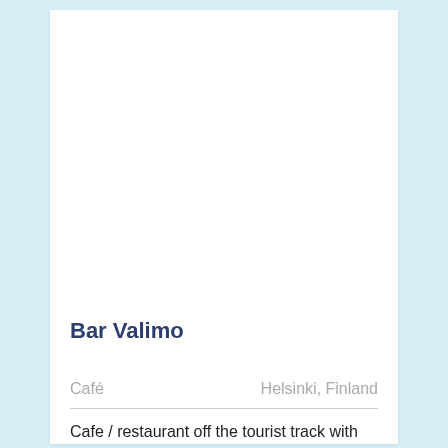[Figure (photo): Large white/blank image area at the top of a venue card for Bar Valimo]
Bar Valimo
Café	Helsinki, Finland
Cafe / restaurant off the tourist track with